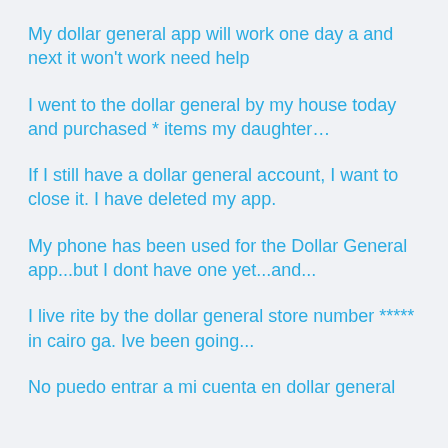My dollar general app will work one day a and next it won't work need help
I went to the dollar general by my house today and purchased * items my daughter…
If I still have a dollar general account, I want to close it. I have deleted my app.
My phone has been used for the Dollar General app...but I dont have one yet...and...
I live rite by the dollar general store number ***** in cairo ga. Ive been going...
No puedo entrar a mi cuenta en dollar general